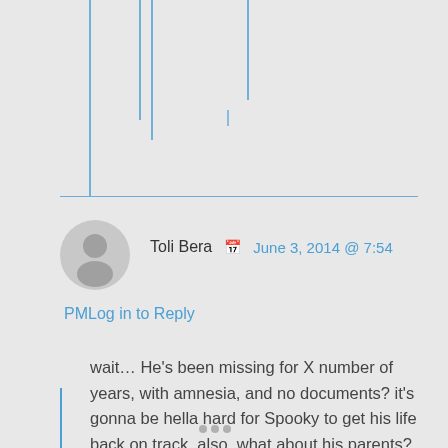[Figure (illustration): Decorative vertical thread lines from a previous comment section at the top of the page]
Toli Bera   June 3, 2014 @ 7:54
PMLog in to Reply
wait… He's been missing for X number of years, with amnesia, and no documents? it's gonna be hella hard for Spooky to get his life back on track. also, what about his parents? don't they merit a looking up somehow? (comparing his fingerprints with birth records? or something of the like?)